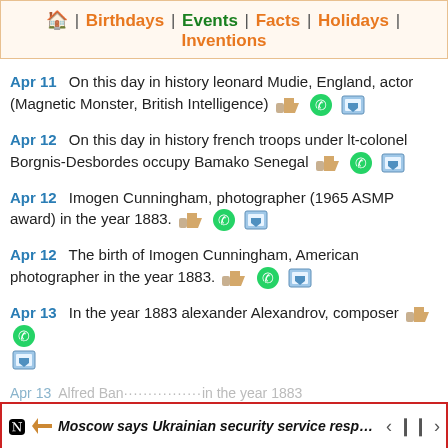🏠 | Birthdays | Events | Facts | Holidays | Inventions
Apr 11   On this day in history leonard Mudie, England, actor (Magnetic Monster, British Intelligence)
Apr 12   On this day in history french troops under lt-colonel Borgnis-Desbordes occupy Bamako Senegal
Apr 12   Imogen Cunningham, photographer (1965 ASMP award) in the year 1883.
Apr 12   The birth of Imogen Cunningham, American photographer in the year 1883.
Apr 13   In the year 1883 alexander Alexandrov, composer
Moscow says Ukrainian security service responsible for a